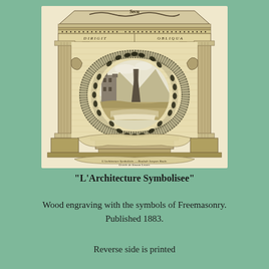[Figure (illustration): An antique wood engraving titled 'L'Architecture Symbolisee' showing a classical architectural frame with columns and pediment, containing a circular wreath around a landscape scene with a pyramid, tower, and mountains. A banner scroll and Masonic symbols appear below. Caption at bottom reads 'L'Architecture Symbolisee. — Boulede Jacques Boule. — Gravee de Simeon Lezare.']
"L'Architecture Symbolisee"
Wood engraving with the symbols of Freemasonry. Published 1883.
Reverse side is printed